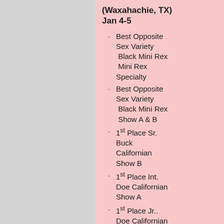(Waxahachie, TX) Jan 4-5
Best Opposite Sex Variety Black Mini Rex Mini Rex Specialty
Best Opposite Sex Variety Black Mini Rex Show A & B
1st Place Sr. Buck Californian Show B
1st Place Int. Doe Californian Show A
1st Place Jr.. Doe Californian Show A
2013 Mid-Tex Rabbit